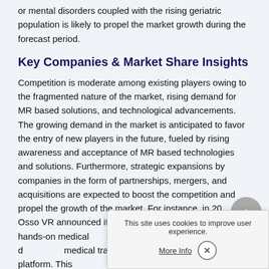or mental disorders coupled with the rising geriatric population is likely to propel the market growth during the forecast period.
Key Companies & Market Share Insights
Competition is moderate among existing players owing to the fragmented nature of the market, rising demand for MR based solutions, and technological advancements. The growing demand in the market is anticipated to favor the entry of new players in the future, fueled by rising awareness and acceptance of MR based technologies and solutions. Furthermore, strategic expansions by companies in the form of partnerships, mergers, and acquisitions are expected to boost the competition and propel the growth of the market. For instance, in 20 Osso VR announced its part creator of hands-on medical models, for the purpose of d medical training with the help of its MR platform. This